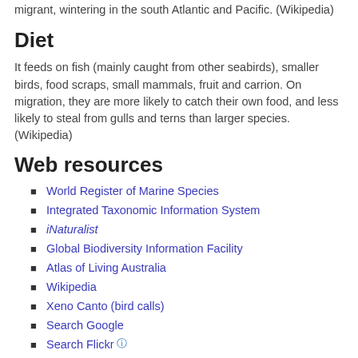migrant, wintering in the south Atlantic and Pacific. (Wikipedia)
Diet
It feeds on fish (mainly caught from other seabirds), smaller birds, food scraps, small mammals, fruit and carrion. On migration, they are more likely to catch their own food, and less likely to steal from gulls and terns than larger species. (Wikipedia)
Web resources
World Register of Marine Species
Integrated Taxonomic Information System
iNaturalist
Global Biodiversity Information Facility
Atlas of Living Australia
Wikipedia
Xeno Canto (bird calls)
Search Google
Search Flickr
Search Encyclopedia of Life